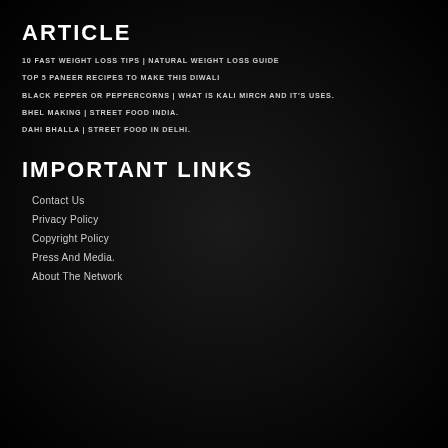ARTICLE
10 FAST WEIGHT LOSS TIPS | NATURAL WEIGHT LOSS GUIDE
TOP 5 PANEER RECIPES TO MAKE THIS DIWALI
BLACK PEPPER OR PEPPERCORNS | WHAT IS KALI MIRCH AND IT'S USES.
BHEL MAKING | STREET FOOD INDIA.
DAHI BHALLA | STREET FOOD IN DELHI.
IMPORTANT LINKS
Contact Us
Privacy Policy
Copyright Policy
Press And Media.
About The Network